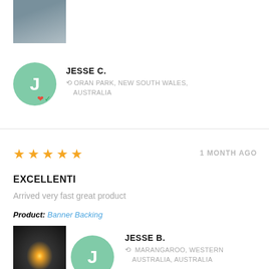[Figure (photo): Top partial photo of a product or item, partially cropped at top]
JESSE C.
ORAN PARK, NEW SOUTH WALES, AUSTRALIA
1 MONTH AGO
EXCELLENTI
Arrived very fast great product
Product: Banner Backing
[Figure (photo): Night cityscape photo with city lights visible]
JESSE B.
MARANGAROO, WESTERN AUSTRALIA, AUSTRALIA